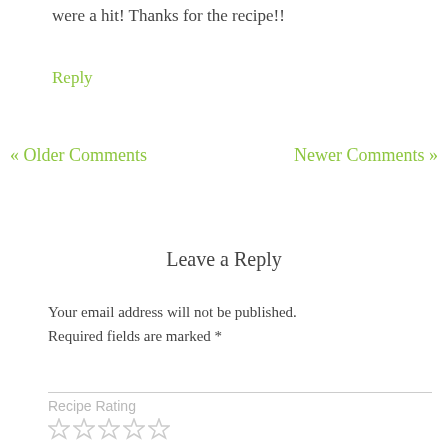were a hit! Thanks for the recipe!!
Reply
« Older Comments
Newer Comments »
Leave a Reply
Your email address will not be published. Required fields are marked *
Recipe Rating
[Figure (other): Five empty star rating icons in a row]